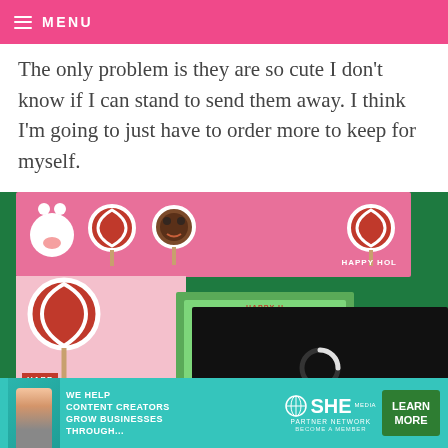≡ MENU
The only problem is they are so cute I don't know if I can stand to send them away. I think I'm going to just have to order more to keep for myself.
[Figure (photo): Holiday greeting card collage showing pink and green cards with lollipop candy decorations, polar bear, and 'HAPPY HOL...' text. Overlaid with a video player showing loading spinner, timestamp 13:52, mute button, CC button, and fullscreen button.]
[Figure (infographic): Advertisement banner for SHE Partner Network: 'WE HELP CONTENT CREATORS GROW BUSINESSES THROUGH...' with LEARN MORE button and BECOME A MEMBER text.]